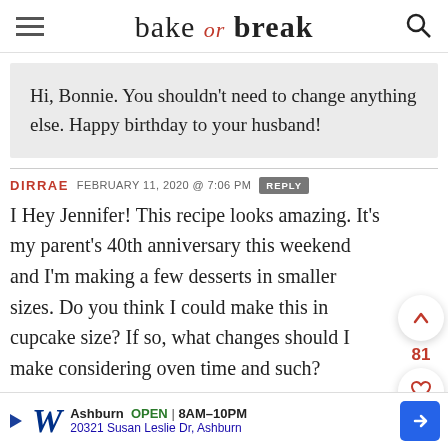bake or break
Hi, Bonnie. You shouldn't need to change anything else. Happy birthday to your husband!
DIRRAE  FEBRUARY 11, 2020 @ 7:06 PM  REPLY
I Hey Jennifer! This recipe looks amazing. It's my parent's 40th anniversary this weekend and I'm making a few desserts in smaller sizes. Do you think I could make this in cupcake size? If so, what changes should I make considering oven time and such?